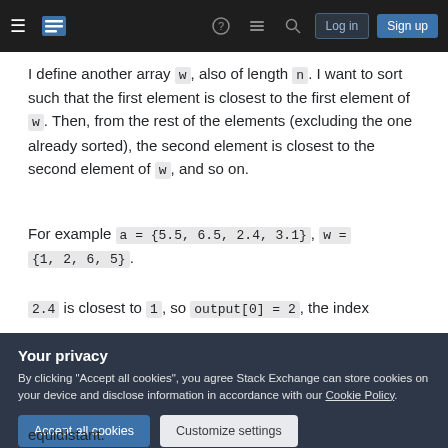Stack Exchange navigation bar with hamburger menu, logo, help, chat, search icons, Log in and Sign up buttons
I define another array w, also of length n. I want to sort such that the first element is closest to the first element of w. Then, from the rest of the elements (excluding the one already sorted), the second element is closest to the second element of w, and so on.
For example a = {5.5, 6.5, 2.4, 3.1}, w = {1, 2, 6, 5}.
2.4 is closest to 1, so output[0] = 2, the index
Your privacy
By clicking "Accept all cookies", you agree Stack Exchange can store cookies on your device and disclose information in accordance with our Cookie Policy.
equidistant.